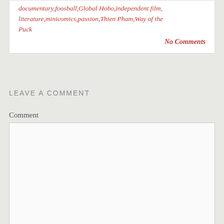documentary, foosball, Global Hobo, independent film, literature, minicomics, passion, Thien Pham, Way of the Puck
No Comments
LEAVE A COMMENT
Comment